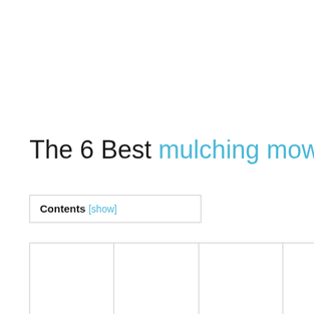The 6 Best mulching mower
Contents [show]
[Figure (other): Partial table or grid structure visible at bottom of page, showing column dividers]